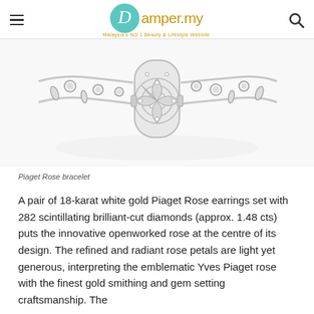pamper.my — Malaysia's NO.1 Beauty & Lifestyle Website
[Figure (photo): Close-up photograph of a Piaget Rose diamond bracelet in 18-karat white gold, featuring an intricate openworked rose design set with numerous brilliant-cut diamonds, with chain-link sides adorned with round and marquise diamonds.]
Piaget Rose bracelet
A pair of 18-karat white gold Piaget Rose earrings set with 282 scintillating brilliant-cut diamonds (approx. 1.48 cts) puts the innovative openworked rose at the centre of its design. The refined and radiant rose petals are light yet generous, interpreting the emblematic Yves Piaget rose with the finest gold smithing and gem setting craftsmanship. The